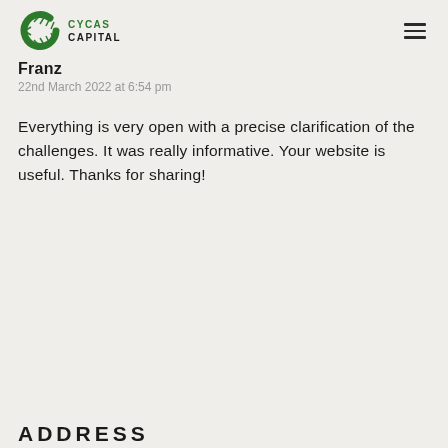CYCAS CAPITAL
Franz
22nd March 2022 at 6:54 pm
Everything is very open with a precise clarification of the challenges. It was really informative. Your website is useful. Thanks for sharing!
ADDRESS